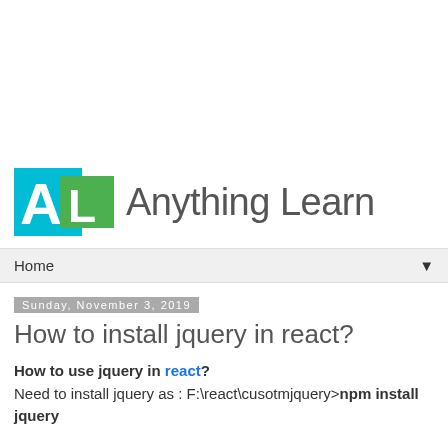[Figure (logo): Anything Learn logo with cyan and green letter blocks and gray text]
Home ▼
Sunday, November 3, 2019
How to install jquery in react?
How to use jquery in react? Need to install jquery as : F:\react\cusotmjquery>npm install jquery